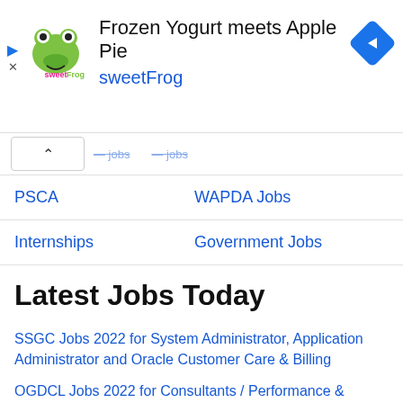[Figure (other): SweetFrog advertisement banner with logo, headline 'Frozen Yogurt meets Apple Pie', brand name 'sweetFrog', and a blue diamond navigation arrow icon]
^ [truncated] jobs   [truncated] jobs
PSCA   WAPDA Jobs
Internships   Government Jobs
Latest Jobs Today
SSGC Jobs 2022 for System Administrator, Application Administrator and Oracle Customer Care & Billing
OGDCL Jobs 2022 for Consultants / Performance &